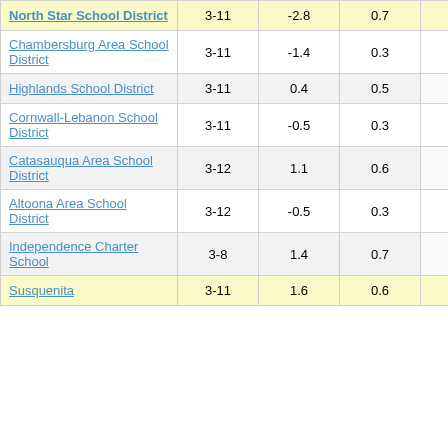| School District | Grades | Col3 | Col4 | Score |
| --- | --- | --- | --- | --- |
| North Star School District | 3-11 | -2.8 | 0.7 | -3.98 |
| Chambersburg Area School District | 3-11 | -1.4 | 0.3 | -5.59 |
| Highlands School District | 3-11 | 0.4 | 0.5 | 0.78 |
| Cornwall-Lebanon School District | 3-11 | -0.5 | 0.3 | -1.48 |
| Catasauqua Area School District | 3-12 | 1.1 | 0.6 | 1.77 |
| Altoona Area School District | 3-12 | -0.5 | 0.3 | -1.84 |
| Independence Charter School | 3-8 | 1.4 | 0.7 | 2.08 |
| Susquenita | 3-11 | 1.6 | 0.6 | 2.79 |